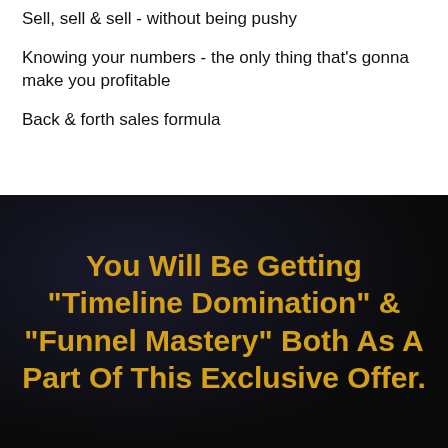Sell, sell & sell - without being pushy
Knowing your numbers - the only thing that's gonna make you profitable
Back & forth sales formula
You Will Be Getting "Timeline Domination" & "Funnel Mastery" Both As A Part Of This Exclusive Offer.